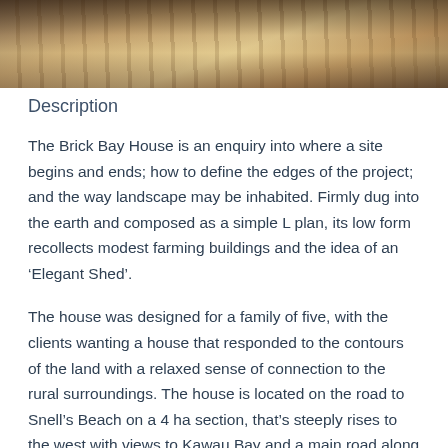[Figure (photo): Interior architectural photo showing wooden ceiling/floor planks with warm raking light, dark tones at top fading to lighter warm tones]
Description
The Brick Bay House is an enquiry into where a site begins and ends; how to define the edges of the project; and the way landscape may be inhabited. Firmly dug into the earth and composed as a simple L plan, its low form recollects modest farming buildings and the idea of an ‘Elegant Shed’.
The house was designed for a family of five, with the clients wanting a house that responded to the contours of the land with a relaxed sense of connection to the rural surroundings. The house is located on the road to Snell’s Beach on a 4 ha section, that’s steeply rises to the west with views to Kawau Bay and a main road along the south western boundary.